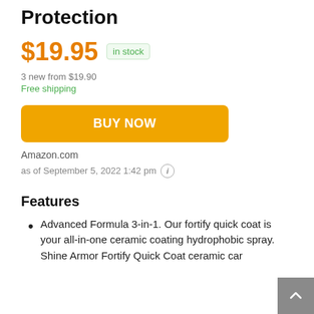Protection
$19.95  in stock
3 new from $19.90
Free shipping
BUY NOW
Amazon.com
as of September 5, 2022 1:42 pm (i)
Features
Advanced Formula 3-in-1. Our fortify quick coat is your all-in-one ceramic coating hydrophobic spray. Shine Armor Fortify Quick Coat ceramic car